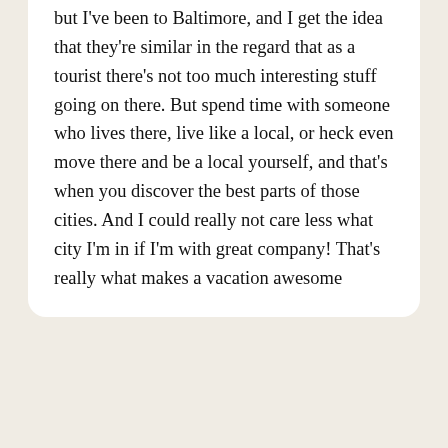but I've been to Baltimore, and I get the idea that they're similar in the regard that as a tourist there's not too much interesting stuff going on there. But spend time with someone who lives there, live like a local, or heck even move there and be a local yourself, and that's when you discover the best parts of those cities. And I could really not care less what city I'm in if I'm with great company! That's really what makes a vacation awesome
REPLY
[Figure (photo): Circular avatar photo of a blonde woman named Alex]
Alex
September 20 2017
So true! I definitely